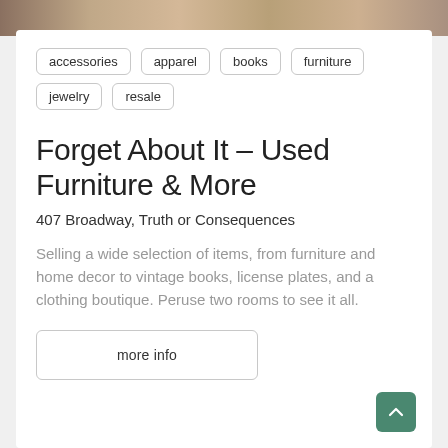[Figure (photo): Top banner image showing store interior with furniture and decor items]
accessories
apparel
books
furniture
jewelry
resale
Forget About It – Used Furniture & More
407 Broadway, Truth or Consequences
Selling a wide selection of items, from furniture and home decor to vintage books, license plates, and a clothing boutique. Peruse two rooms to see it all.
more info